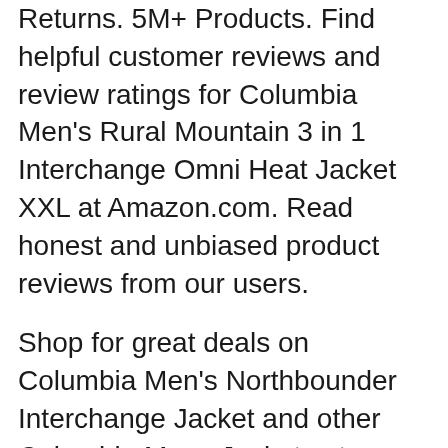Returns. 5M+ Products. Find helpful customer reviews and review ratings for Columbia Men's Rural Mountain 3 in 1 Interchange Omni Heat Jacket XXL at Amazon.com. Read honest and unbiased product reviews from our users.
Shop for great deals on Columbia Men's Northbounder Interchange Jacket and other Columbia Mens Jackets at Mountain Steals. Get the best deal for Columbia Big & Tall Coats & Jackets for Men from the largest online selection at eBay.com. Browse our daily deals for even more savings! Free shipping on many items!